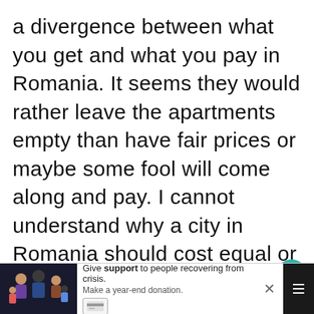a divergence between what you get and what you pay in Romania. It seems they would rather leave the apartments empty than have fair prices or maybe some fool will come along and pay. I cannot understand why a city in Romania should cost equal or more than the beautiful croatian coast or Czechia. Even one horse towns I see prices that are definitely for foreigners but even romanians who travel (if they do at all ) probably in groups
[Figure (screenshot): Advertisement banner at bottom of page showing a family photo on dark background with text 'Give support to people recovering from crisis. Make a year-end donation.' with a close button and payment card icon.]